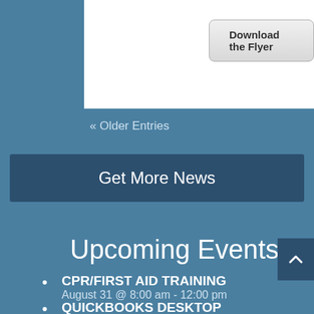[Figure (screenshot): White content box with a 'Download the Flyer' button]
« Older Entries
Get More News
Upcoming Events
CPR/FIRST AID TRAINING
August 31 @ 8:00 am - 12:00 pm
QUICKBOOKS DESKTOP
September 8 @ 9:00 am - 2:30 pm